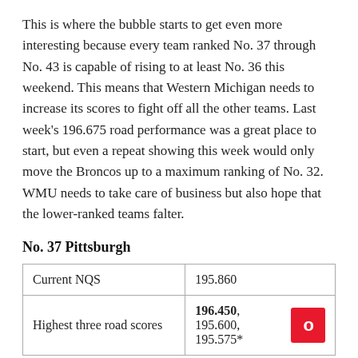This is where the bubble starts to get even more interesting because every team ranked No. 37 through No. 43 is capable of rising to at least No. 36 this weekend. This means that Western Michigan needs to increase its scores to fight off all the other teams. Last week's 196.675 road performance was a great place to start, but even a repeat showing this week would only move the Broncos up to a maximum ranking of No. 32. WMU needs to take care of business but also hope that the lower-ranked teams falter.
No. 37 Pittsburgh
| Current NQS | 195.860 |
| Highest three road scores | 196.450, 195.600, 195.575* |